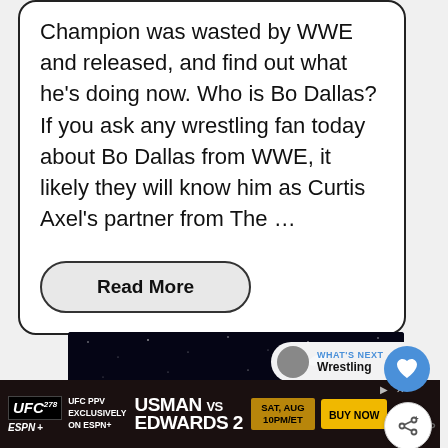Champion was wasted by WWE and released, and find out what he's doing now. Who is Bo Dallas? If you ask any wrestling fan today about Bo Dallas from WWE, it likely they will know him as Curtis Axel's partner from The …
Read More
[Figure (screenshot): Space/stars background image for an advertisement]
[Figure (infographic): UFC 278 advertisement banner: UFC PPV exclusively on ESPN+. USMAN vs EDWARDS 2. SAT, AUG 10PM/ET. BUY NOW.]